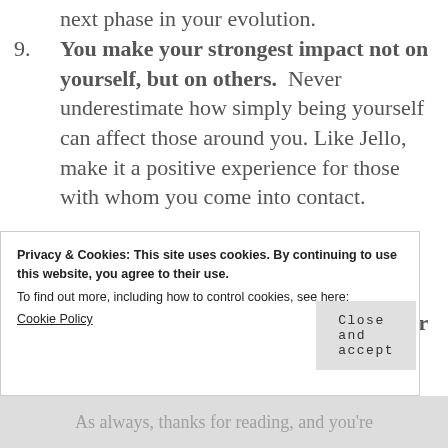next phase in your evolution.
9. You make your strongest impact not on yourself, but on others.  Never underestimate how simply being yourself can affect those around you. Like Jello, make it a positive experience for those with whom you come into contact.
10. Always be prepared to perform at your best. All times, every time, at this...
Privacy & Cookies: This site uses cookies. By continuing to use this website, you agree to their use.
To find out more, including how to control cookies, see here:
Cookie Policy
Close and accept
As always, thanks for reading, and you're...